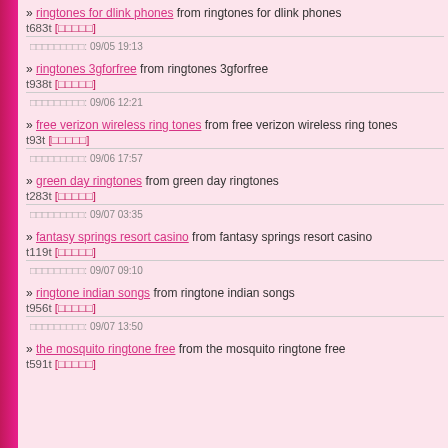» ringtones for dlink phones from ringtones for dlink phones t683t [□□□□□]
□□□□□□□□□: 09/05 19:13
» ringtones 3gforfree from ringtones 3gforfree t938t [□□□□□]
□□□□□□□□□: 09/06 12:21
» free verizon wireless ring tones from free verizon wireless ring tones t93t [□□□□□]
□□□□□□□□□: 09/06 17:57
» green day ringtones from green day ringtones t283t [□□□□□]
□□□□□□□□□: 09/07 03:35
» fantasy springs resort casino from fantasy springs resort casino t119t [□□□□□]
□□□□□□□□□: 09/07 09:10
» ringtone indian songs from ringtone indian songs t956t [□□□□□]
□□□□□□□□□: 09/07 13:50
» the mosquito ringtone free from the mosquito ringtone free t591t [□□□□□]